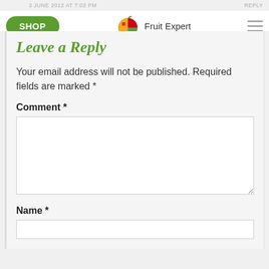3 JUNE 2012 AT 7:02 PM   REPLY
SHOP  Fruit Expert  ☰
Leave a Reply
Your email address will not be published. Required fields are marked *
Comment *
Name *